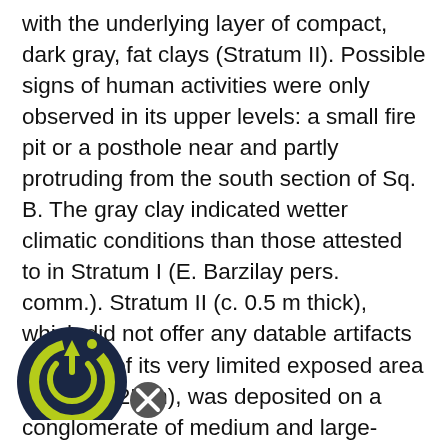with the underlying layer of compact, dark gray, fat clays (Stratum II). Possible signs of human activities were only observed in its upper levels: a small fire pit or a posthole near and partly protruding from the south section of Sq. B. The gray clay indicated wetter climatic conditions than those attested to in Stratum I (E. Barzilay pers. comm.). Stratum II (c. 0.5 m thick), which did not offer any datable artifacts because of its very limited exposed area (2.00 × 2.25 m), was deposited on a conglomerate of medium and large-sized wadi pebbles from the Pleistocene era (Stratum III; J. Kafri, Geological Survey of Israel, pers. comm.). These deposits (thickness of at least 5 m) have been mechanically exposed in a deep cross-
[Figure (logo): Circular logo with upward arrow and power symbol overlay, dark navy and yellow-green colors, with an X close button]